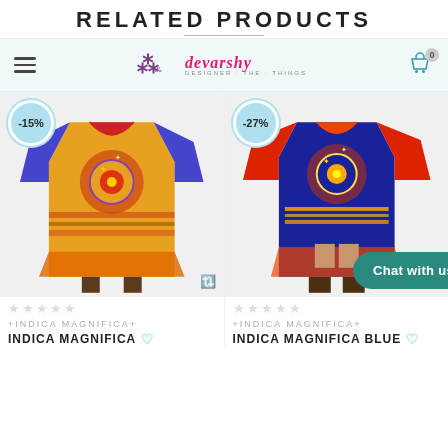RELATED PRODUCTS
[Figure (screenshot): E-commerce navigation bar with hamburger menu, Devarshy logo and shopping cart icon showing 0 items]
[Figure (photo): Product photo of colorful kaftan dress with -15% discount badge, orange/blue/gold tribal print, worn by model with gladiator sandals]
[Figure (photo): Product photo of blue/red kaftan dress with -27% discount badge, blue/orange tribal print, worn by model with gladiator sandals]
☆☆☆☆☆
+INDICA MAGNIFICA+
INDICA MAGNIFICA
☆☆☆☆☆
+INDICA MAGNIFICA+
INDICA MAGNIFICA BLUE
Chat with us